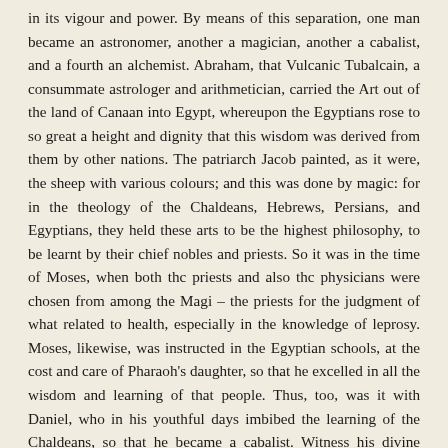in its vigour and power. By means of this separation, one man became an astronomer, another a magician, another a cabalist, and a fourth an alchemist. Abraham, that Vulcanic Tubalcain, a consummate astrologer and arithmetician, carried the Art out of the land of Canaan into Egypt, whereupon the Egyptians rose to so great a height and dignity that this wisdom was derived from them by other nations. The patriarch Jacob painted, as it were, the sheep with various colours; and this was done by magic: for in the theology of the Chaldeans, Hebrews, Persians, and Egyptians, they held these arts to be the highest philosophy, to be learnt by their chief nobles and priests. So it was in the time of Moses, when both thc priests and also thc physicians were chosen from among the Magi – the priests for the judgment of what related to health, especially in the knowledge of leprosy. Moses, likewise, was instructed in the Egyptian schools, at the cost and care of Pharaoh's daughter, so that he excelled in all the wisdom and learning of that people. Thus, too, was it with Daniel, who in his youthful days imbibed the learning of the Chaldeans, so that he became a cabalist. Witness his divine predictions and his exposition of those words, "Mene, Mene, Tecelphares". These words can be understood by the prophetic and cabalistic Art.